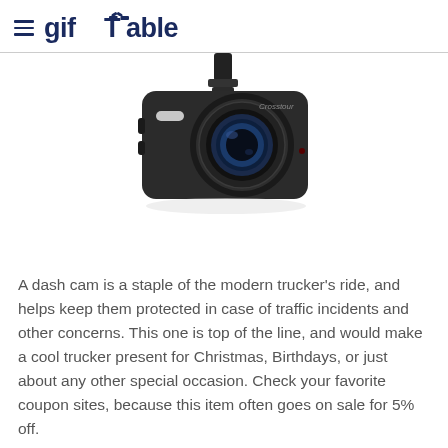giftTable
[Figure (photo): A black Crosstour dash cam mounted on a windshield mount, showing the camera lens prominently with a wide-angle lens assembly.]
A dash cam is a staple of the modern trucker's ride, and helps keep them protected in case of traffic incidents and other concerns. This one is top of the line, and would make a cool trucker present for Christmas, Birthdays, or just about any other special occasion. Check your favorite coupon sites, because this item often goes on sale for 5% off.